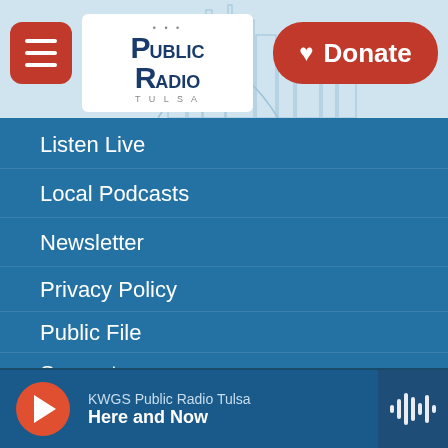[Figure (screenshot): Mobile app navigation menu for KWGS Public Radio Tulsa. Shows hamburger menu button, Public Radio Tulsa logo, and Donate button in header. Navigation items listed below on blue background.]
Listen Live
Local Podcasts
Newsletter
Privacy Policy
Public File
Support
Vehicle Donation
KWGS Public Radio Tulsa — Here and Now